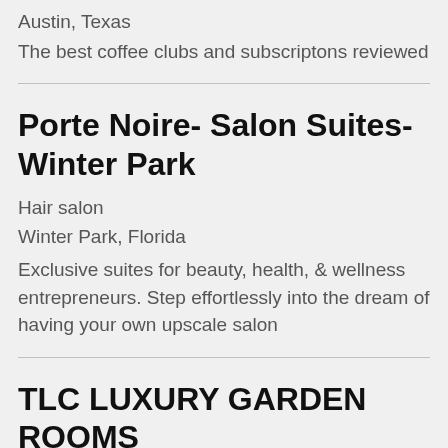Austin, Texas
The best coffee clubs and subscriptons reviewed
Porte Noire- Salon Suites- Winter Park
Hair salon
Winter Park, Florida
Exclusive suites for beauty, health, & wellness entrepreneurs. Step effortlessly into the dream of having your own upscale salon
TLC LUXURY GARDEN ROOMS